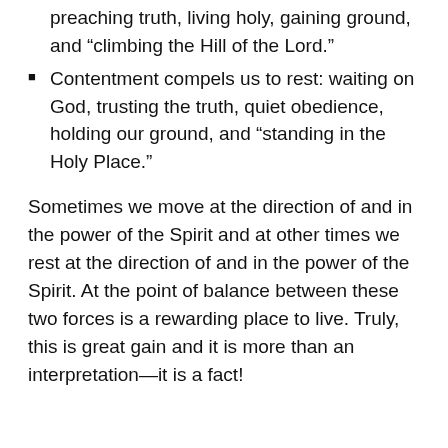preaching truth, living holy, gaining ground, and “climbing the Hill of the Lord.”
Contentment compels us to rest: waiting on God, trusting the truth, quiet obedience, holding our ground, and “standing in the Holy Place.”
Sometimes we move at the direction of and in the power of the Spirit and at other times we rest at the direction of and in the power of the Spirit. At the point of balance between these two forces is a rewarding place to live. Truly, this is great gain and it is more than an interpretation—it is a fact!